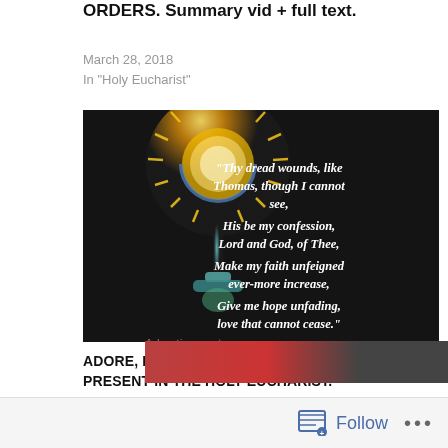ORDERS. Summary vid + full text.
March 28, 2018
In "Holy Eucharist"
[Figure (photo): A monstrance (Eucharistic vessel) glowing with golden light on a dark background, with italic white text overlay reading: "Thy dread wounds, like Thomas, though I cannot see, His be my confession, Lord and God, of Thee, Make my faith unfeigned ever-more increase, Give me hope unfading, love that cannot cease."]
ADORE, LOVE AND RECEIVE JESUS TRULY PRESENT IN THE HOLY EUCHARIST.
January 22, 2016
In "Adoration"
Advertisements
[Figure (photo): Advertisement banner showing food (pizza) with an ORDER button on the right side.]